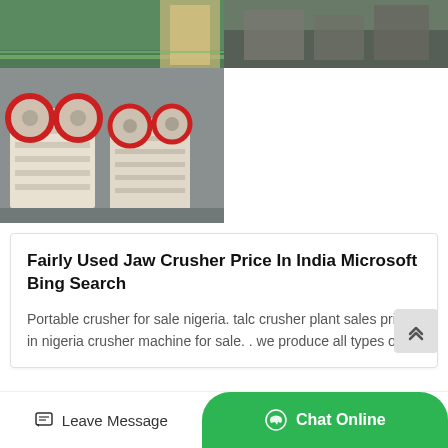[Figure (photo): Top partial photo showing green floor area (left) and machinery/equipment in warehouse (right)]
[Figure (photo): Photo of jaw crusher machines (white/cream colored, with red flywheels) in an industrial factory setting]
Fairly Used Jaw Crusher Price In India Microsoft Bing Search
Portable crusher for sale nigeria. talc crusher plant sales price in nigeria crusher machine for sale. . we produce all types of…
Small Jaw Crusher 911Me…